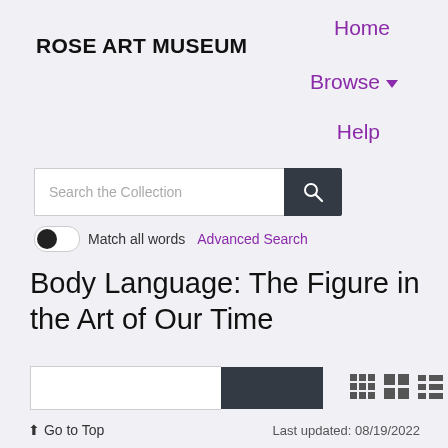ROSE ART MUSEUM
Home
Browse
Help
[Figure (screenshot): Search bar with placeholder text 'Search the Collection' and a dark search button with magnifying glass icon]
Match all words   Advanced Search
Body Language: The Figure in the Art of Our Time
[Figure (screenshot): Filter bar with input field and dark button, plus grid view icons on the right]
↑ Go to Top    Last updated: 08/19/2022